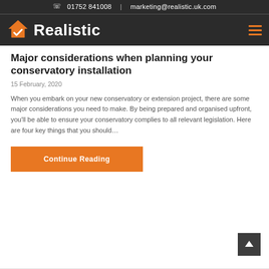01752 841008 | marketing@realistic.uk.com
[Figure (logo): Realistic company logo with orange house icon and white bold text 'Realistic' on dark background]
Major considerations when planning your conservatory installation
15 February, 2020
When you embark on your new conservatory or extension project, there are some major considerations you need to make. By being prepared and organised upfront, you'll be able to ensure your conservatory complies to all relevant legislation. Here are four key things that you should…
Continue Reading